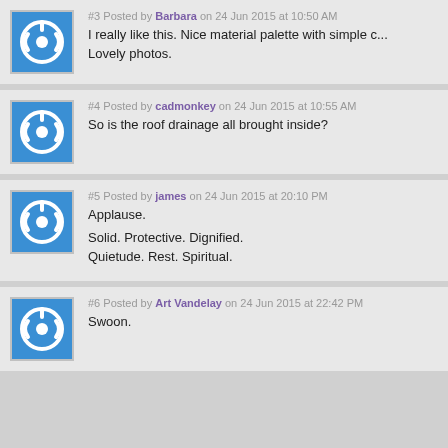#3 Posted by Barbara on 24 Jun 2015 at 10:50 AM
I really like this. Nice material palette with simple c... Lovely photos.
#4 Posted by cadmonkey on 24 Jun 2015 at 10:55 AM
So is the roof drainage all brought inside?
#5 Posted by james on 24 Jun 2015 at 20:10 PM
Applause.

Solid. Protective. Dignified.
Quietude. Rest. Spiritual.
#6 Posted by Art Vandelay on 24 Jun 2015 at 22:42 PM
Swoon.